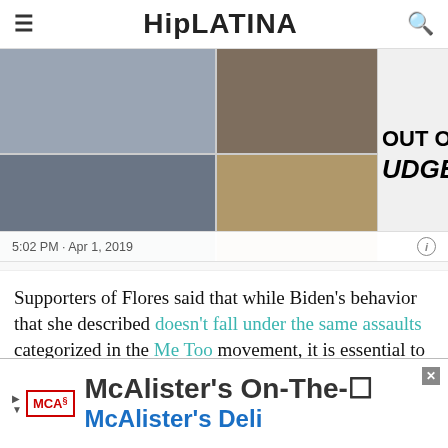HipLATINA
[Figure (photo): Collage of political news photos with text overlays 'OUT OF TOUCH?' and 'JUDGE REPO' (Drudge Report style), timestamp 5:02 PM · Apr 1, 2019]
Supporters of Flores said that while Biden’s behavior that she described doesn’t fall under the same assaults categorized in the Me Too movement, it is essential to discuss the invasion
[Figure (other): Advertisement banner for McAlister's On-The-Go with McAlister's Deli logo]